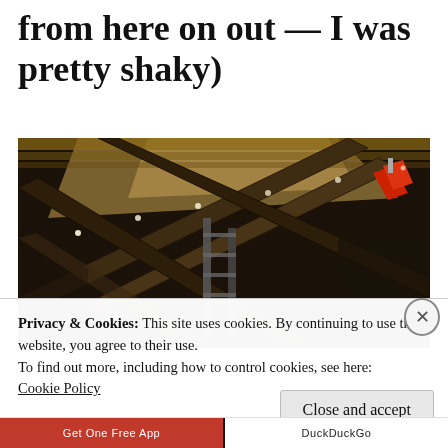from here on out — I was pretty shaky)
[Figure (photo): Interior view looking up at old wooden roof structure with crossing beams, metal scaffolding, and a red object visible at upper right. Dramatic low-angle shot showing cathedral or barn-like architecture with low lights along the beams.]
Privacy & Cookies: This site uses cookies. By continuing to use this website, you agree to their use.
To find out more, including how to control cookies, see here: Cookie Policy
Close and accept